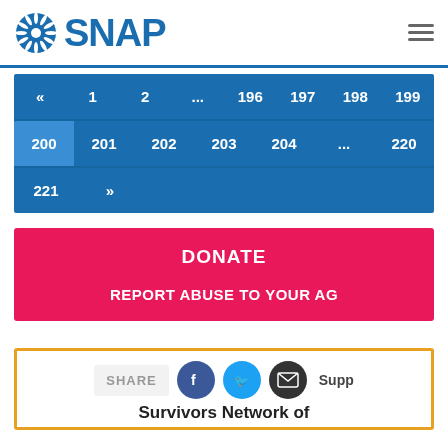SNAP
[Figure (other): SNAP organization logo with sunburst icon and 'SNAP' text in blue, with hamburger menu icon on right]
[Figure (other): Pagination navigation: « 1 2 ... 196 197 198 199 / 200(active) 201 202 203 204 ... 220 / 221 »]
DONATE
REPORT ABUSE TO YOUR AG
[Figure (other): Share box with Facebook, Twitter, and email icons, plus 'Survivors Network of' partial text]